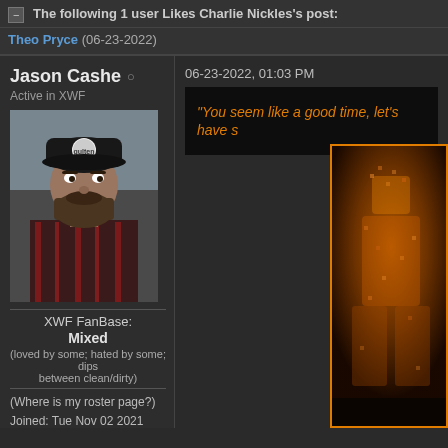The following 1 user Likes Charlie Nickles's post:
Theo Pryce (06-23-2022)
Jason Cashe
Active in XWF
[Figure (photo): Profile photo of Jason Cashe wearing a black cap and plaid shirt with beard]
XWF FanBase: Mixed (loved by some; hated by some; dips between clean/dirty)
(Where is my roster page?) Joined: Tue Nov 02 2021 Posts: 33 62,498 Likes Given: 77
06-23-2022, 01:03 PM
"You seem like a good time, let's have s
[Figure (photo): Orange-tinted figure image on right side with orange border]